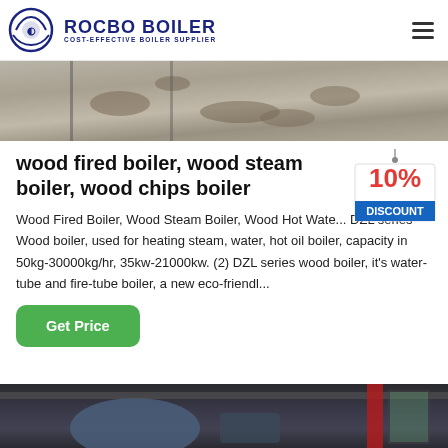ROCBO BOILER – COST-EFFECTIVE BOILER SUPPLIER
[Figure (photo): Outdoor ground surface with wet puddles or stains, top portion of an article image]
wood fired boiler, wood steam boiler, wood chips boiler
[Figure (infographic): 10% DISCOUNT badge/sticker hanging graphic in red and blue]
Wood Fired Boiler, Wood Steam Boiler, Wood Hot Wate... DZL series Wood boiler, used for heating steam, water, hot oil boiler, capacity in 50kg-30000kg/hr, 35kw-21000kw. (2) DZL series wood boiler, it's water-tube and fire-tube boiler, a new eco-friendl...
Get Price
[Figure (photo): Industrial boiler equipment in a factory or plant setting, partially visible at bottom of page]